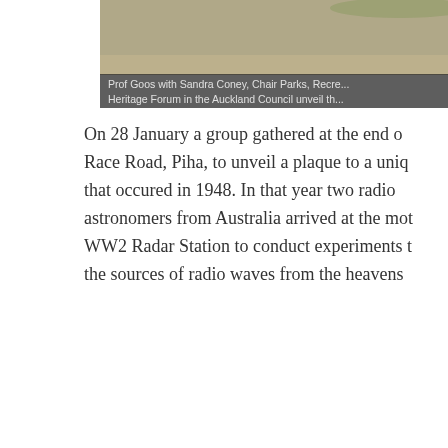[Figure (photo): Photo of Prof Goos with Sandra Coney, Chair Parks, Recreation and Heritage Forum in the Auckland Council unveiling a plaque. Only top portion and caption bar visible.]
Prof Goos with Sandra Coney, Chair Parks, Recreation and Heritage Forum in the Auckland Council unveil the...
On 28 January a group gathered at the end of Race Road, Piha, to unveil a plaque to a unique event that occured in 1948. In that year two radio astronomers from Australia arrived at the moth-balled WW2 Radar Station to conduct experiments to find the sources of radio waves from the heavens.
Englishman John Bolton and New Zealand-born Gordon Stanley had already spent some months on high hills at Pakiri recording radio waves from the sun. At Piha, they positioned themselves on the 300 metre high cliffs of Hikurangi facing the western horizon of the setting sun.
[Figure (photo): Partial photo showing a smiling man (possibly Prof Goos) at bottom of page, indoor setting.]